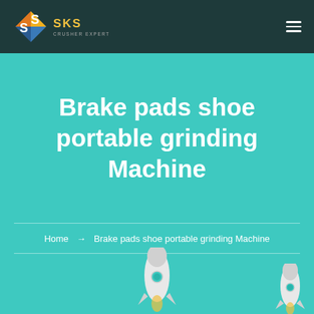[Figure (logo): SKS Crusher Expert logo with geometric diamond icon in orange/yellow/blue colors on dark teal header bar]
Brake pads shoe portable grinding Machine
Home → Brake pads shoe portable grinding Machine
[Figure (illustration): Two white rocket illustrations with green porthole windows at bottom of teal background area]